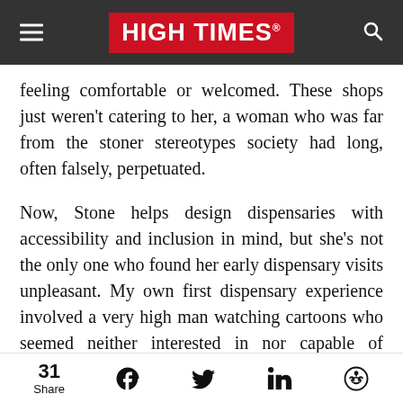HIGH TIMES
feeling comfortable or welcomed. These shops just weren't catering to her, a woman who was far from the stoner stereotypes society had long, often falsely, perpetuated.
Now, Stone helps design dispensaries with accessibility and inclusion in mind, but she's not the only one who found her early dispensary visits unpleasant. My own first dispensary experience involved a very high man watching cartoons who seemed neither interested in nor capable of answering a single question.
31 Share | Facebook | Twitter | LinkedIn | Reddit